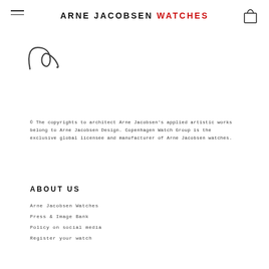ARNE JACOBSEN WATCHES
[Figure (illustration): Cursive signature or letter 'a' in italic script]
© The copyrights to architect Arne Jacobsen's applied artistic works belong to Arne Jacobsen Design. Copenhagen Watch Group is the exclusive global licensee and manufacturer of Arne Jacobsen watches.
ABOUT US
Arne Jacobsen Watches
Press & Image Bank
Policy on social media
Register your watch